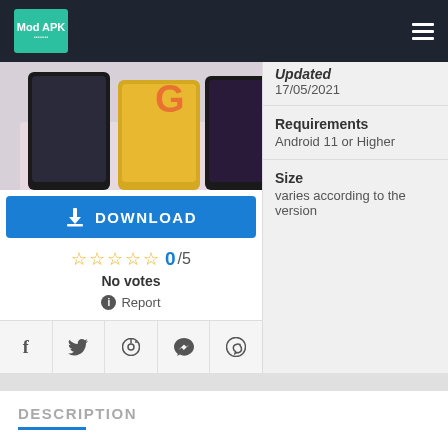Mod APK
[Figure (photo): Two Poco F3 GT smartphones displayed side by side]
Updated 17/05/2021
Requirements
Android 11 or Higher
Size
varies according to the version
DOWNLOAD
0/5
No votes
Report
DESCRIPTION
Recently launched Poco F3 GT is a mid ranger phone with a decent hardware spec.